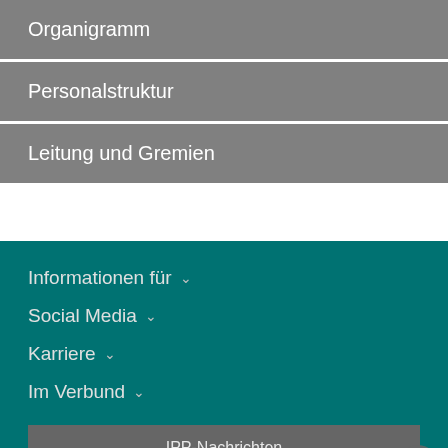Organigramm
Personalstruktur
Leitung und Gremien
Informationen für ∨
Social Media ∨
Karriere ∨
Im Verbund ∨
IPP-Nachrichten